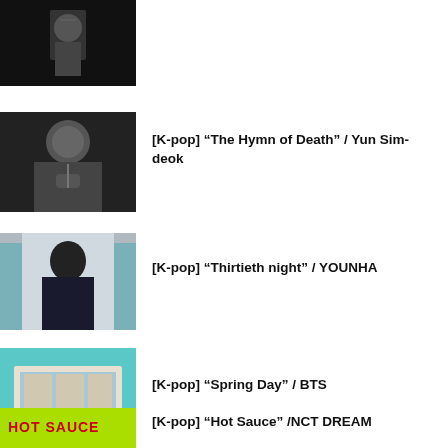[Figure (photo): Black and white partial photo at top of page, cropped]
[Figure (photo): Black and white vintage photo of a woman singing]
[K-pop] “The Hymn of Death” / Yun Sim-deok
[Figure (photo): Photo of two people embracing, soft color tones]
[K-pop] “Thirtieth night” / YOUNHA
[Figure (photo): Album art showing a bus shelter by the ocean with teal background]
[K-pop] “Spring Day” / BTS
[Figure (photo): Colorful album art with text HOT SAUCE, yellow-green background]
[K-pop] “Hot Sauce” /NCT DREAM